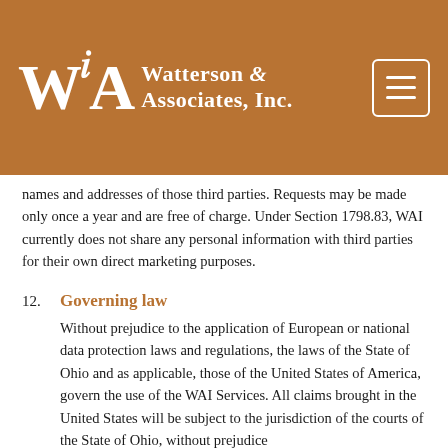[Figure (logo): Watterson & Associates, Inc. logo with WA monogram on brown/burnt orange background with hamburger menu button]
names and addresses of those third parties. Requests may be made only once a year and are free of charge. Under Section 1798.83, WAI currently does not share any personal information with third parties for their own direct marketing purposes.
12. Governing law
Without prejudice to the application of European or national data protection laws and regulations, the laws of the State of Ohio and as applicable, those of the United States of America, govern the use of the WAI Services. All claims brought in the United States will be subject to the jurisdiction of the courts of the State of Ohio, without prejudice